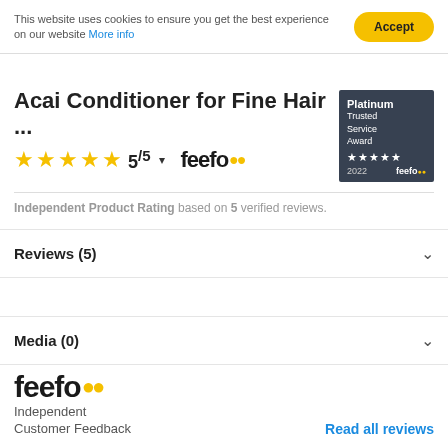This website uses cookies to ensure you get the best experience on our website More info
Acai Conditioner for Fine Hair ...
[Figure (infographic): 5 gold stars with rating 5/5 and dropdown arrow, followed by feefo logo inline]
[Figure (infographic): Platinum Trusted Service Award badge with 5 stars, 2022, feefo logo on dark background]
Independent Product Rating based on 5 verified reviews.
Reviews (5)
Media (0)
[Figure (logo): Feefo logo with yellow circular eyes and text 'Independent Customer Feedback']
Read all reviews